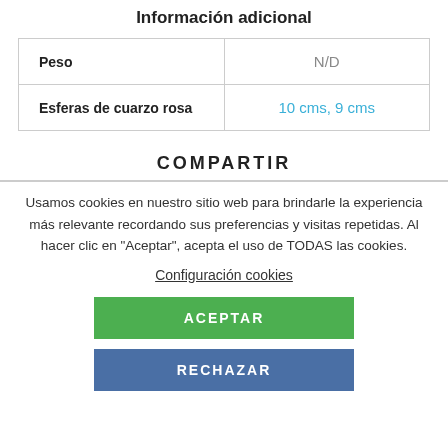Información adicional
|  |  |
| --- | --- |
| Peso | N/D |
| Esferas de cuarzo rosa | 10 cms, 9 cms |
COMPARTIR
Usamos cookies en nuestro sitio web para brindarle la experiencia más relevante recordando sus preferencias y visitas repetidas. Al hacer clic en "Aceptar", acepta el uso de TODAS las cookies.
Configuración cookies
ACEPTAR
RECHAZAR